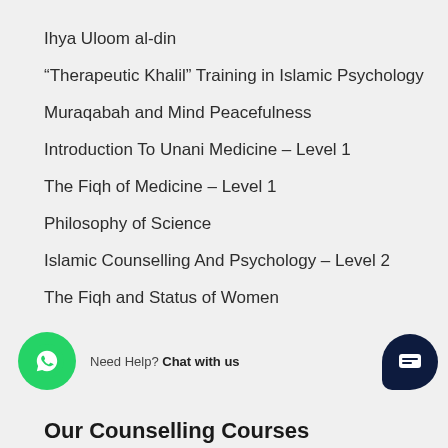Ihya Uloom al-din
“Therapeutic Khalil” Training in Islamic Psychology
Muraqabah and Mind Peacefulness
Introduction To Unani Medicine – Level 1
The Fiqh of Medicine – Level 1
Philosophy of Science
Islamic Counselling And Psychology – Level 2
The Fiqh and Status of Women
Need Help? Chat with us
Our Counselling Courses